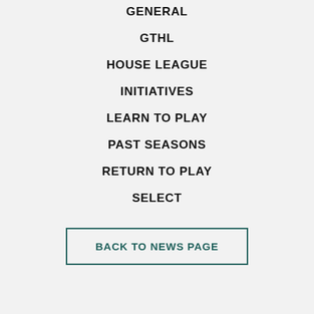GENERAL
GTHL
HOUSE LEAGUE
INITIATIVES
LEARN TO PLAY
PAST SEASONS
RETURN TO PLAY
SELECT
BACK TO NEWS PAGE